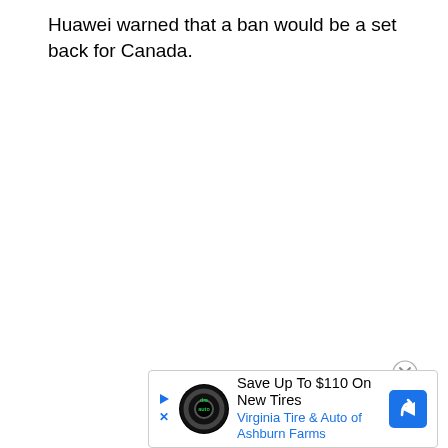Huawei warned that a ban would be a set back for Canada.
[Figure (other): Advertisement banner: 'Save Up To $110 On New Tires - Virginia Tire & Auto of Ashburn Farms' with a Tire & Auto logo and navigation arrow icon]